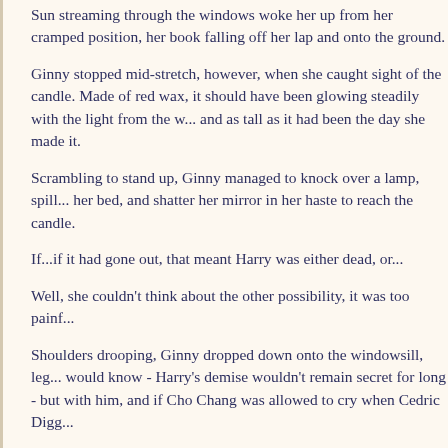Sun streaming through the windows woke her up from her cramped position, her book falling off her lap and onto the ground.
Ginny stopped mid-stretch, however, when she caught sight of the candle. Made of red wax, it should have been glowing steadily with the light from the window - and as full and as tall as it had been the day she made it.
Scrambling to stand up, Ginny managed to knock over a lamp, spill her water glass on her bed, and shatter her mirror in her haste to reach the candle.
If...if it had gone out, that meant Harry was either dead, or...
Well, she couldn't think about the other possibility, it was too painful.
Shoulders drooping, Ginny dropped down onto the windowsill, legs dangling. Everyone would know - Harry's demise wouldn't remain secret for long - but she had been in love with him, and if Cho Chang was allowed to cry when Cedric Diggory died...
The fact that this justification was rather catty didn't register to Ginny, who could barely think.
"Ginny?"
"Go away, Harry, I can't talk to you right now," she sobbed. The wo...